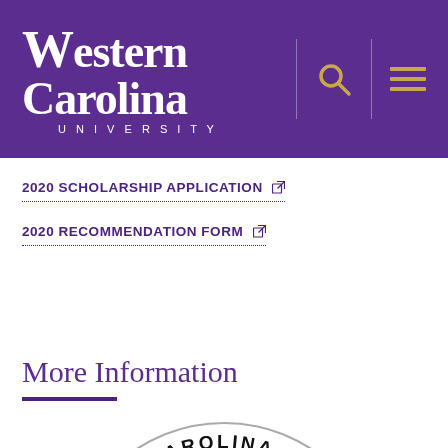Western Carolina University
2020 SCHOLARSHIP APPLICATION ↗
2020 RECOMMENDATION FORM ↗
More Information
[Figure (logo): Western Carolina University circular seal/logo, partially visible at bottom of page]